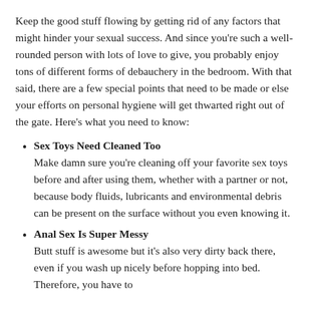Keep the good stuff flowing by getting rid of any factors that might hinder your sexual success. And since you're such a well-rounded person with lots of love to give, you probably enjoy tons of different forms of debauchery in the bedroom. With that said, there are a few special points that need to be made or else your efforts on personal hygiene will get thwarted right out of the gate. Here's what you need to know:
Sex Toys Need Cleaned Too
Make damn sure you're cleaning off your favorite sex toys before and after using them, whether with a partner or not, because body fluids, lubricants and environmental debris can be present on the surface without you even knowing it.
Anal Sex Is Super Messy
Butt stuff is awesome but it's also very dirty back there, even if you wash up nicely before hopping into bed. Therefore, you have to...